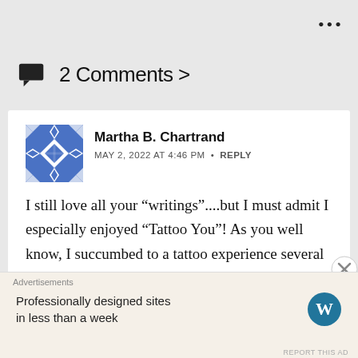2 Comments >
Martha B. Chartrand
MAY 2, 2022 AT 4:46 PM · REPLY
I still love all your “writings”....but I must admit I especially enjoyed “Tattoo You”! As you well know, I succumbed to a tattoo experience several years ago....I don’t
Advertisements
Professionally designed sites in less than a week